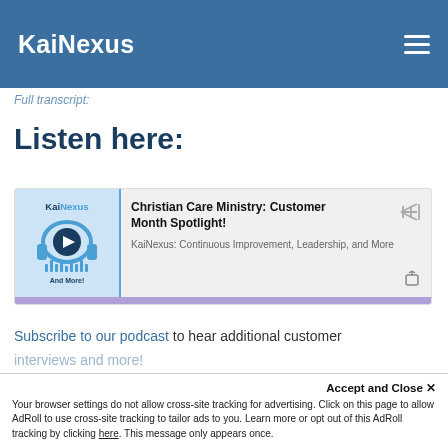KaiNexus
Full transcript:
Listen here:
[Figure (screenshot): Podcast player widget showing KaiNexus logo thumbnail with play button and headphones graphic, title 'Christian Care Ministry: Customer Month Spotlight!', subtitle 'KaiNexus: Continuous Improvement, Leadership, and More', with waveform and share icons, and a purple progress bar at the bottom.]
Subscribe to our podcast to hear additional customer interviews and more!
Accept and Close ✕
Your browser settings do not allow cross-site tracking for advertising. Click on this page to allow AdRoll to use cross-site tracking to tailor ads to you. Learn more or opt out of this AdRoll tracking by clicking here. This message only appears once.